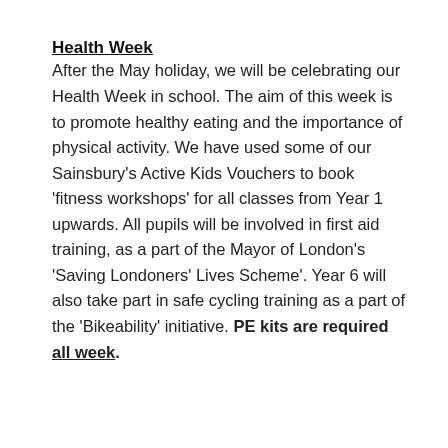Health Week
After the May holiday, we will be celebrating our Health Week in school. The aim of this week is to promote healthy eating and the importance of physical activity. We have used some of our Sainsbury's Active Kids Vouchers to book 'fitness workshops' for all classes from Year 1 upwards. All pupils will be involved in first aid training, as a part of the Mayor of London's 'Saving Londoners' Lives Scheme'. Year 6 will also take part in safe cycling training as a part of the 'Bikeability' initiative. PE kits are required all week.